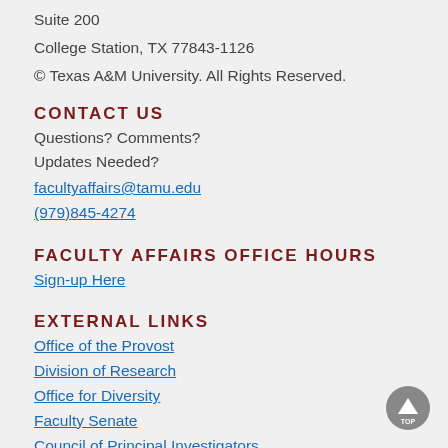Suite 200
College Station, TX 77843-1126
© Texas A&M University. All Rights Reserved.
CONTACT US
Questions? Comments?
Updates Needed?
facultyaffairs@tamu.edu
(979)845-4274
FACULTY AFFAIRS OFFICE HOURS
Sign-up Here
EXTERNAL LINKS
Office of the Provost
Division of Research
Office for Diversity
Faculty Senate
Council of Principal Investigators